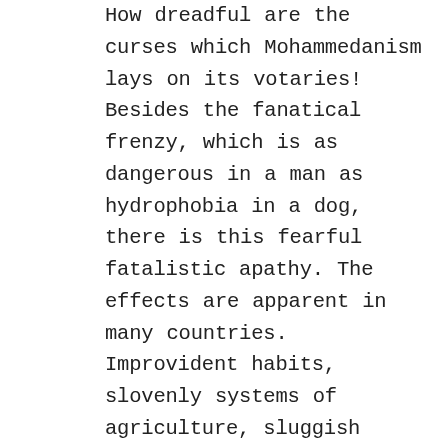How dreadful are the curses which Mohammedanism lays on its votaries! Besides the fanatical frenzy, which is as dangerous in a man as hydrophobia in a dog, there is this fearful fatalistic apathy. The effects are apparent in many countries. Improvident habits, slovenly systems of agriculture, sluggish methods of commerce, and insecurity of property exist wherever the followers of the Prophet rule or live. A degraded sensualism deprives this life of its grace and refinement; the next of its dignity and sanctity. The fact that in Mohammedan law every woman must belong to some man as his absolute property – either as a child, a wife, or a concubine – must delay the final